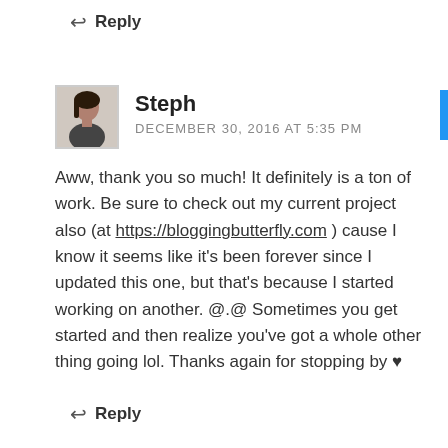↩ Reply
Steph
DECEMBER 30, 2016 AT 5:35 PM
Aww, thank you so much! It definitely is a ton of work. Be sure to check out my current project also (at https://bloggingbutterfly.com ) cause I know it seems like it's been forever since I updated this one, but that's because I started working on another. @.@ Sometimes you get started and then realize you've got a whole other thing going lol. Thanks again for stopping by ♥
↩ Reply